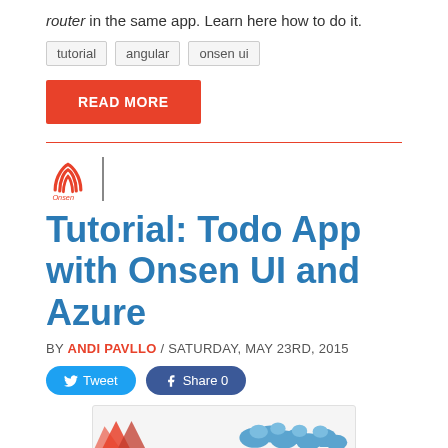router in the same app. Learn here how to do it.
tutorial
angular
onsen ui
READ MORE
[Figure (logo): Onsen UI logo with red wave icon and text 'Onsen']
Tutorial: Todo App with Onsen UI and Azure
BY ANDI PAVLLO / SATURDAY, MAY 23RD, 2015
Tweet | Share 0
[Figure (illustration): Hero image with red angular logo shapes on left and blue cloud illustrations on right]